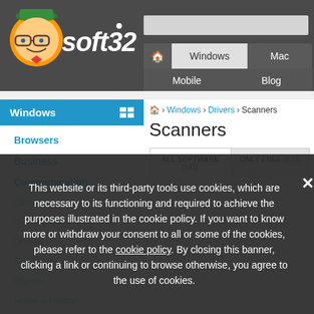[Figure (screenshot): Soft32 website header with logo, navigation bar including Windows, Mac, Mobile, Blog tabs, and search bar]
soft32
Windows | Mac | Mobile | Blog
Windows
Browsers
Business
Communication
🏠 > Windows > Drivers > Scanners
Scanners
ALL SOFTWARE (843)   ONLY FREE (839)
This website or its third-party tools use cookies, which are necessary to its functioning and required to achieve the purposes illustrated in the cookie policy. If you want to know more or withdraw your consent to all or some of the cookies, please refer to the cookie policy. By closing this banner, clicking a link or continuing to browse otherwise, you agree to the use of cookies.